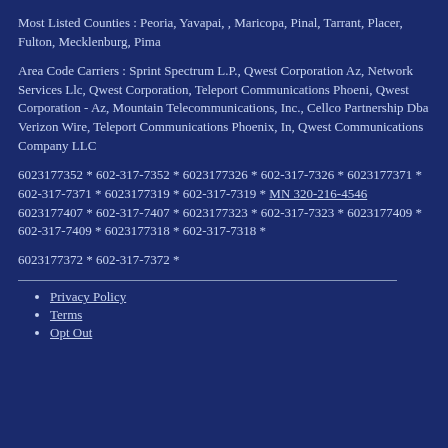Most Listed Counties : Peoria, Yavapai, , Maricopa, Pinal, Tarrant, Placer, Fulton, Mecklenburg, Pima
Area Code Carriers : Sprint Spectrum L.P., Qwest Corporation Az, Network Services Llc, Qwest Corporation, Teleport Communications Phoeni, Qwest Corporation - Az, Mountain Telecommunications, Inc., Cellco Partnership Dba Verizon Wire, Teleport Communications Phoenix, In, Qwest Communications Company LLC
6023177352 * 602-317-7352 * 6023177326 * 602-317-7326 * 6023177371 * 602-317-7371 * 6023177319 * 602-317-7319 * MN 320-216-4546 6023177407 * 602-317-7407 * 6023177323 * 602-317-7323 * 6023177409 * 602-317-7409 * 6023177318 * 602-317-7318 *
6023177372 * 602-317-7372 *
Privacy Policy
Terms
Opt Out